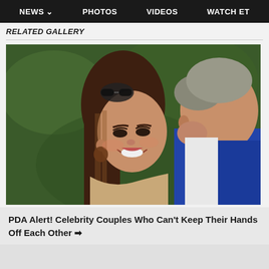NEWS  PHOTOS  VIDEOS  WATCH ET
RELATED GALLERY
[Figure (photo): A woman with dark hair and sunglasses on her head smiling, being kissed on the cheek by a man in a blue and white shirt, outdoors with a green background.]
PDA Alert! Celebrity Couples Who Can't Keep Their Hands Off Each Other →